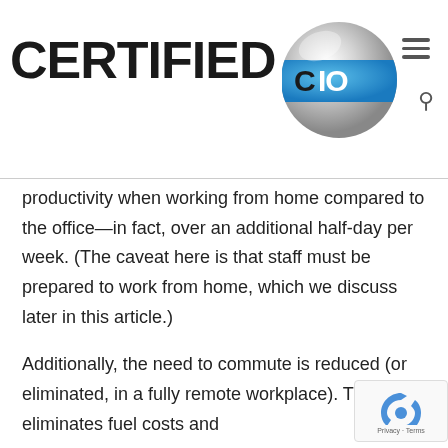[Figure (logo): Certified CIO logo with globe graphic showing CIO text, hamburger menu icon and search icon]
productivity when working from home compared to the office—in fact, over an additional half-day per week. (The caveat here is that staff must be prepared to work from home, which we discuss later in this article.)
Additionally, the need to commute is reduced (or eliminated, in a fully remote workplace). This eliminates fuel costs and